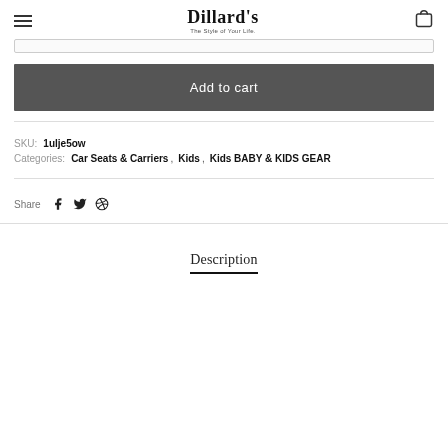Dillard's — The Style of Your Life.
Add to cart
SKU: 1ulje5ow
Categories: Car Seats & Carriers, Kids, Kids BABY & KIDS GEAR
Share
Description